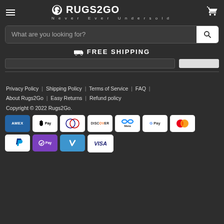[Figure (logo): Rugs2Go logo with circular arrow icon and tagline 'Never Ever Undersold']
What are you looking for?
FREE SHIPPING
Privacy Policy | Shipping Policy | Terms of Service | FAQ | About Rugs2Go | Easy Returns | Refund policy
Copyright © 2022 Rugs2Go.
[Figure (infographic): Payment method icons: American Express, Apple Pay, Diners Club, Discover, Meta Pay, Google Pay, Mastercard, PayPal, Shop Pay, Venmo, Visa]